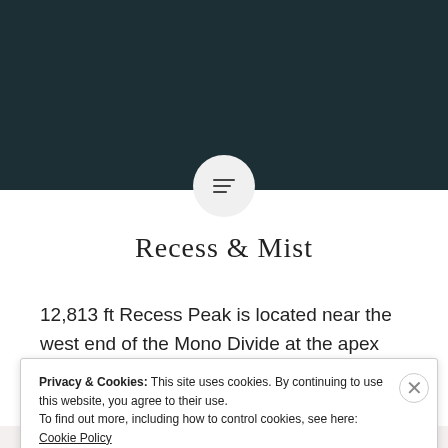[Figure (screenshot): Dark teal/navy website header bar with a circular menu icon at the bottom center]
Recess & Mist
12,813 ft Recess Peak is located near the west end of the Mono Divide at the apex that separates the First Recess and Second Recess. The peak is steep on all sides except its south side which makes for an impressive profile when viewed from a distance. The Recess is also little...
Privacy & Cookies: This site uses cookies. By continuing to use this website, you agree to their use.
To find out more, including how to control cookies, see here: Cookie Policy
Close and accept